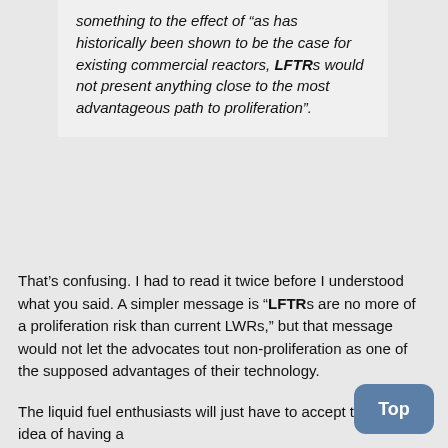something to the effect of “as has historically been shown to be the case for existing commercial reactors, LFTRs would not present anything close to the most advantageous path to proliferation”.
That’s confusing. I had to read it twice before I understood what you said. A simpler message is “LFTRs are no more of a proliferation risk than current LWRs,” but that message would not let the advocates tout non-proliferation as one of the supposed advantages of their technology.
The liquid fuel enthusiasts will just have to accept that the idea of having a